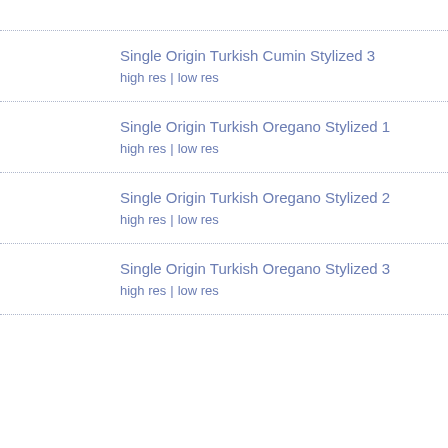Single Origin Turkish Cumin Stylized 3
high res | low res
Single Origin Turkish Oregano Stylized 1
high res | low res
Single Origin Turkish Oregano Stylized 2
high res | low res
Single Origin Turkish Oregano Stylized 3
high res | low res